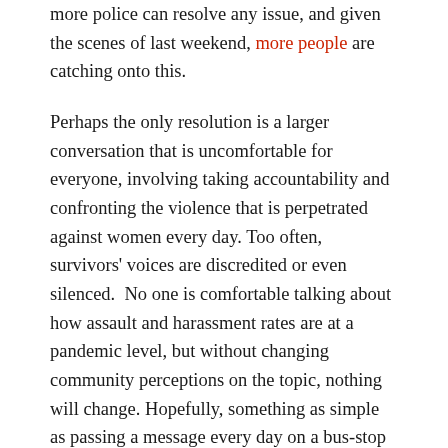more police can resolve any issue, and given the scenes of last weekend, more people are catching onto this.
Perhaps the only resolution is a larger conversation that is uncomfortable for everyone, involving taking accountability and confronting the violence that is perpetrated against women every day. Too often, survivors' voices are discredited or even silenced.  No one is comfortable talking about how assault and harassment rates are at a pandemic level, but without changing community perceptions on the topic, nothing will change. Hopefully, something as simple as passing a message every day on a bus-stop will remind people how critical the need to change the narrative is.
Everybody deserves to feel safe, wherever they are – be that in residential halls or private buildings, on campus or public streets.